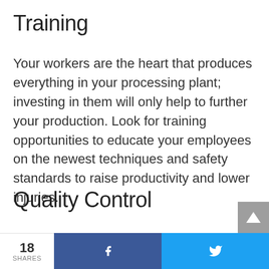Training
Your workers are the heart that produces everything in your processing plant; investing in them will only help to further your production. Look for training opportunities to educate your employees on the newest techniques and safety standards to raise productivity and lower injuries.
Quality Control
Quality control is a huge hamper on a food
18 SHARES  f  🐦